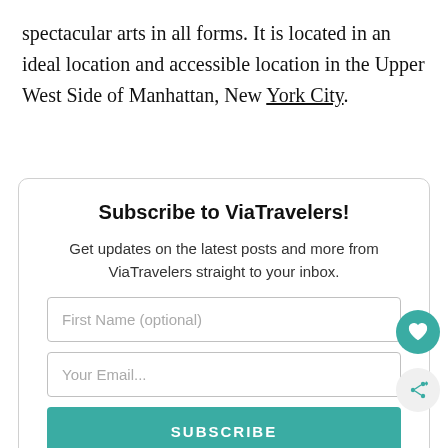spectacular arts in all forms. It is located in an ideal location and accessible location in the Upper West Side of Manhattan, New York City.
Subscribe to ViaTravelers!
Get updates on the latest posts and more from ViaTravelers straight to your inbox.